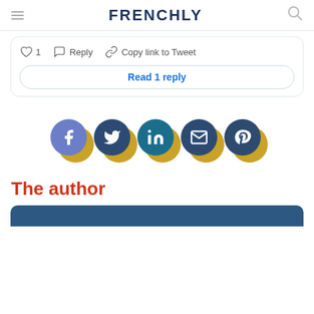FRENCHLY
1   Reply   Copy link to Tweet
Read 1 reply
[Figure (infographic): Five social media share buttons: Facebook, Twitter, LinkedIn, Email, Pinterest — circular icons with gold shadow offset]
The author